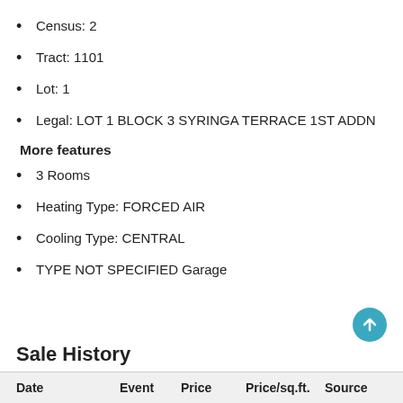Census: 2
Tract: 1101
Lot: 1
Legal: LOT 1 BLOCK 3 SYRINGA TERRACE 1ST ADDN
More features
3 Rooms
Heating Type: FORCED AIR
Cooling Type: CENTRAL
TYPE NOT SPECIFIED Garage
Sale History
| Date | Event | Price | Price/sq.ft. | Source |
| --- | --- | --- | --- | --- |